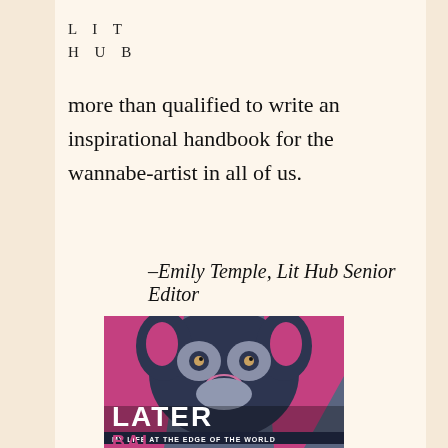LIT
HUB
more than qualified to write an inspirational handbook for the wannabe-artist in all of us.
–Emily Temple, Lit Hub Senior Editor
[Figure (illustration): Book cover of 'Later: My Life at the Edge of the World' featuring a stylized graphic illustration of a dog's face in dark blue/grey and pink/magenta tones. The title 'LATER' appears in large white letters across the middle, with subtitle 'MY LIFE AT THE EDGE OF THE WORLD' below, and 'BAI' visible at the bottom.]